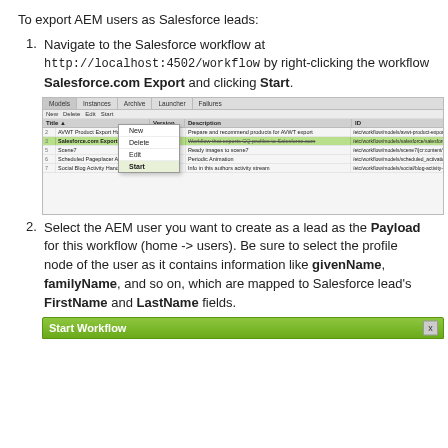To export AEM users as Salesforce leads:
1. Navigate to the Salesforce workflow at http://localhost:4502/workflow by right-clicking the workflow Salesforce.com Export and clicking Start.
[Figure (screenshot): Screenshot of AEM Workflow console showing a list of workflows with 'Salesforce.com Export' row highlighted in green and a context menu open showing options: New, Delete, Edit, Start — with Start highlighted.]
2. Select the AEM user you want to create as a lead as the Payload for this workflow (home -> users). Be sure to select the profile node of the user as it contains information like givenName, familyName, and so on, which are mapped to Salesforce lead's FirstName and LastName fields.
[Figure (screenshot): Bottom edge of a 'Start Workflow' dialog box with a green header bar.]